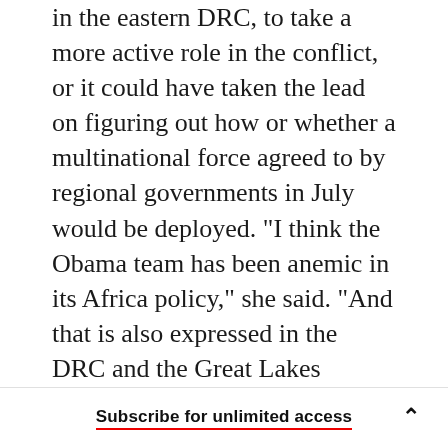in the eastern DRC, to take a more active role in the conflict, or it could have taken the lead on figuring out how or whether a multinational force agreed to by regional governments in July would be deployed. "I think the Obama team has been anemic in its Africa policy," she said. "And that is also expressed in the DRC and the Great Lakes region. They basically haven't been present. They haven't shaped events to the point where these problems that they're seeing today wouldn't be there."
Frazer notes that Rice hasn't even been officially
Subscribe for unlimited access